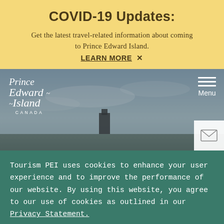COVID-19 Updates:
Get the latest travel-related information about coming to Prince Edward Island.
LEARN MORE  X
[Figure (photo): Prince Edward Island government website header with PEI logo on left and Menu button on right, sky background with building silhouette]
Tourism PEI uses cookies to enhance your user experience and to improve the performance of our website. By using this website, you agree to our use of cookies as outlined in our Privacy Statement.
Accept